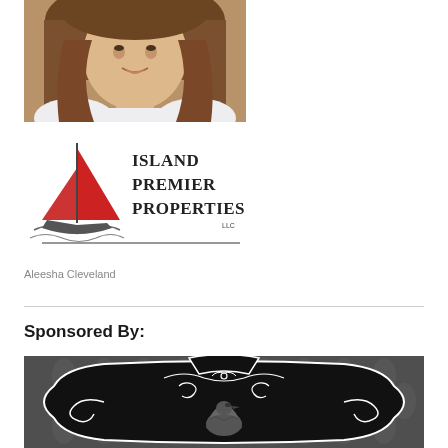[Figure (photo): Portrait photo of a young woman (Aleesha Cleveland) with long brown hair, smiling, shown from shoulders up]
[Figure (logo): Island Premier Properties LLC logo — red sailboat with waves, text reading ISLAND PREMIER PROPERTIES LLC in dark serif font]
Aleesha Cleveland
Sponsored By:
[Figure (photo): Dark ornate damask patterned banner with decorative black frame and a black bird (raven/crow) illustration in the center, white decorative scroll work]